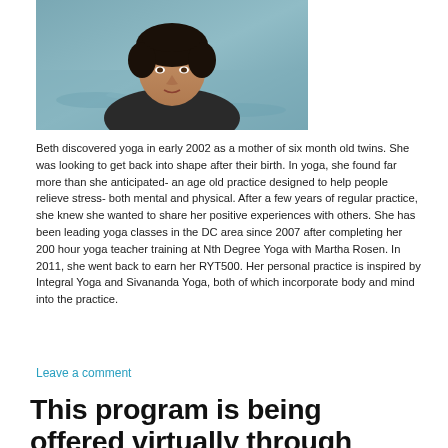[Figure (photo): Portrait photo of a woman with short dark hair wearing a dark v-neck top, standing outdoors near water]
Beth discovered yoga in early 2002 as a mother of six month old twins. She was looking to get back into shape after their birth. In yoga, she found far more than she anticipated- an age old practice designed to help people relieve stress- both mental and physical. After a few years of regular practice, she knew she wanted to share her positive experiences with others. She has been leading yoga classes in the DC area since 2007 after completing her 200 hour yoga teacher training at Nth Degree Yoga with Martha Rosen. In 2011, she went back to earn her RYT500. Her personal practice is inspired by Integral Yoga and Sivananda Yoga, both of which incorporate body and mind into the practice.
Leave a comment
This program is being offered virtually through Zoom. In order to participate and receive the Zoom link, register by clicking the RSVP button above or by emailing.